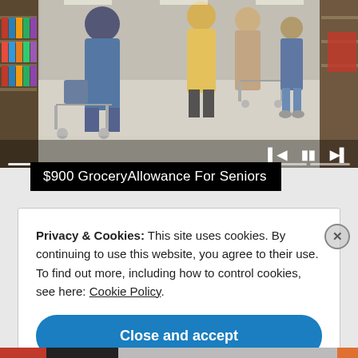[Figure (photo): Grocery store aisle scene with elderly shoppers pushing carts, viewed from behind. Store shelves visible on left, wide bright aisle. Media player controls overlay with progress bar segments and skip/pause/next buttons.]
$900 GroceryAllowance For Seniors
Privacy & Cookies: This site uses cookies. By continuing to use this website, you agree to their use. To find out more, including how to control cookies, see here: Cookie Policy.
Close and accept